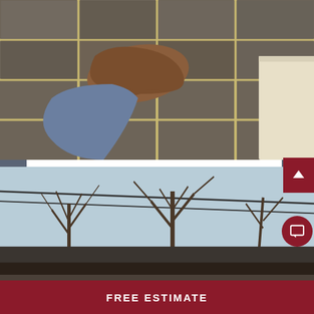[Figure (logo): Calidad Enterprises logo with house/roof icon above bold red CALIDAD text and ENTERPRISES subtitle]
(940) 251-8293
[Figure (photo): Close-up photo of a person wearing jeans and brown cowboy boot standing on dark slate tile floor, with white trim board visible at right]
[Figure (photo): Photo of bare winter trees against gray sky with a dark rooftop in lower portion of frame]
FREE ESTIMATE